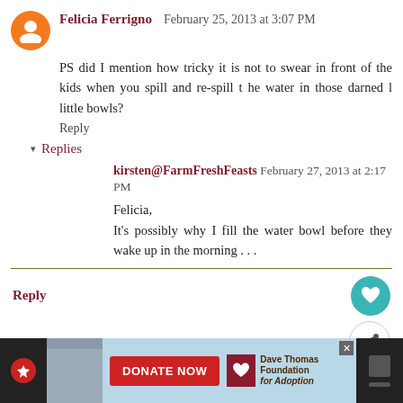Felicia Ferrigno  February 25, 2013 at 3:07 PM
PS did I mention how tricky it is not to swear in front of the kids when you spill and re-spill t he water in those darned l little bowls?
Reply
▾ Replies
kirsten@FarmFreshFeasts  February 27, 2013 at 2:17 PM
Felicia,
It's possibly why I fill the water bowl before they wake up in the morning . . .
Reply
Lisa Lynn  February 27, 2013 at 12:00 PM
[Figure (screenshot): Advertisement bar at bottom: Dave Thomas Foundation for Adoption donate now ad with a photo of a child, red DONATE NOW button, and the Dave Thomas Foundation for Adoption logo]